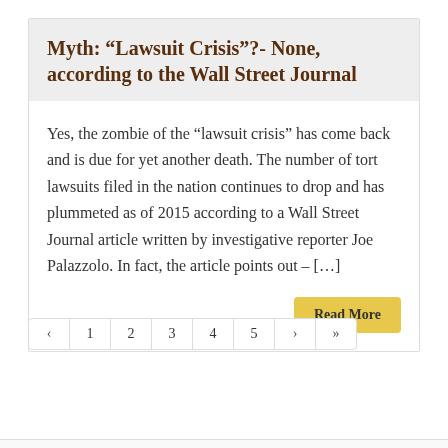Myth: “Lawsuit Crisis”?- None, according to the Wall Street Journal
Yes, the zombie of the “lawsuit crisis” has come back and is due for yet another death. The number of tort lawsuits filed in the nation continues to drop and has plummeted as of 2015 according to a Wall Street Journal article written by investigative reporter Joe Palazzolo. In fact, the article points out – […]
Read More